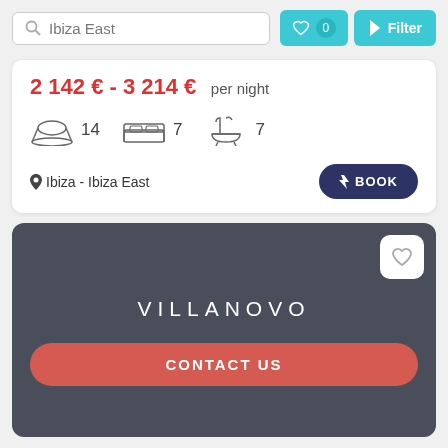Ibiza East
0
Filter
2 142 € - 3 214 €  per night
14  7  7
Ibiza - Ibiza East
BOOK
VILLANOVO
CONTACT US